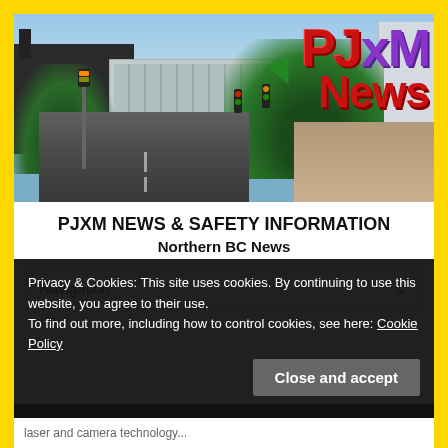[Figure (photo): Street scene photo with a Canadian city intersection, trees, buildings, and the PJXM News logo overlaid in red and purple 3D text with a green arrow.]
PJXM NEWS & SAFETY INFORMATION
Northern BC News
Navigation
Privacy & Cookies: This site uses cookies. By continuing to use this website, you agree to their use.
To find out more, including how to control cookies, see here: Cookie Policy
Close and accept
laser and camera technology...